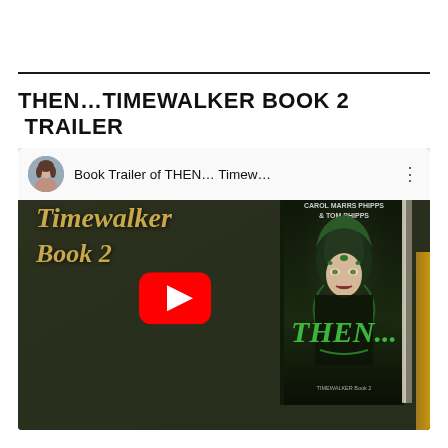THEN…TIMEWALKER BOOK 2  TRAILER
[Figure (screenshot): YouTube video thumbnail showing a book trailer for 'THEN... Timewalker Book 2' by Carol Marrs Phipps & Tom Phipps. The thumbnail shows a dark olive/brown background with golden 'Timewalker Book 2' text on the left, a YouTube play button in the center, and a book cover on the right featuring a fantasy/elf woman with green hair and ornaments. The YouTube header bar shows a circular avatar photo of a woman, the title 'Book Trailer of THEN... Timew...' and a three-dot menu icon.]